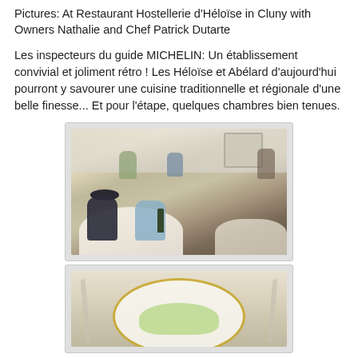Pictures: At Restaurant Hostellerie d'Héloïse in Cluny with Owners Nathalie and Chef Patrick Dutarte
Les inspecteurs du guide MICHELIN: Un établissement convivial et joliment rétro ! Les Héloïse et Abélard d'aujourd'hui pourront y savourer une cuisine traditionnelle et régionale d'une belle finesse... Et pour l'étape, quelques chambres bien tenues.
[Figure (photo): Interior of Restaurant Hostellerie d'Héloïse in Cluny showing diners seated at white-clothed tables in an elegant room, with waitstaff visible and a woman in a striped hat in the foreground.]
[Figure (photo): Close-up of a food plate with salad/greens on a decorative plate with gold rim, with cutlery visible on the sides.]